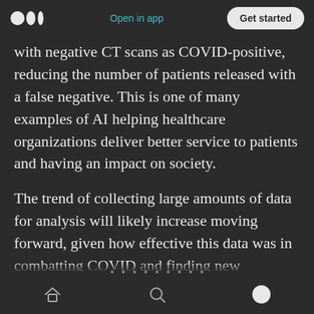Open in app | Get started
with negative CT scans as COVID-positive, reducing the number of patients released with a false negative. This is one of many examples of AI helping healthcare organizations deliver better service to patients and having an impact on society.
The trend of collecting large amounts of data for analysis will likely increase moving forward, given how effective this data was in combatting COVID and finding new treatments, such as vaccines. The idea of using large amounts of data
Home | Search | Profile